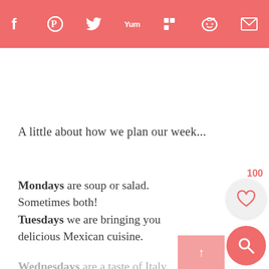Social share bar with icons: Facebook, Pinterest, Twitter, Yummly, Flipboard, Reddit, Email
A little about how we plan our week...
Mondays are soup or salad. Sometimes both! Tuesdays we are bringing you delicious Mexican cuisine.
Wednesdays are a taste of Italy.
Thursdays are designed around yummy